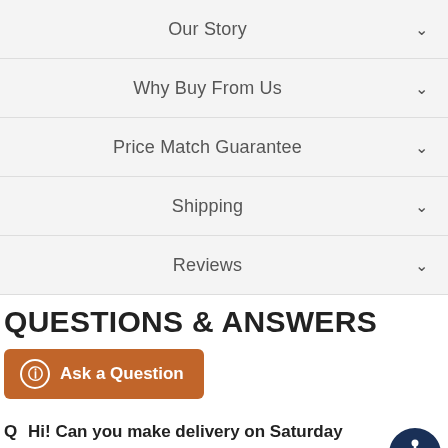Our Story
Why Buy From Us
Price Match Guarantee
Shipping
Reviews
QUESTIONS & ANSWERS
Ask a Question
Q  Hi! Can you make delivery on Saturday guarantee?
A  Hi Tom,